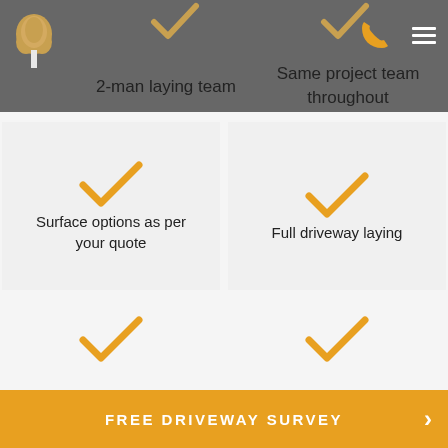2-man laying team
Same project team throughout
Surface options as per your quote
Full driveway laying
FREE DRIVEWAY SURVEY